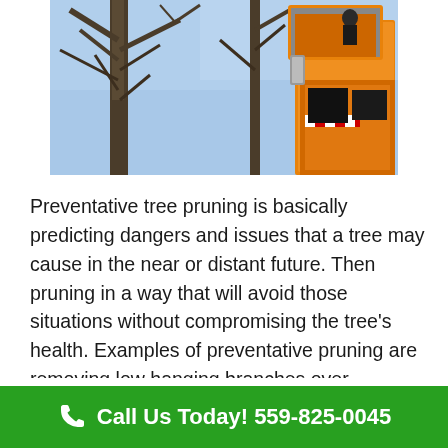[Figure (photo): A worker in an orange cherry picker / bucket truck lift working high up near bare winter trees against a blue sky.]
Preventative tree pruning is basically predicting dangers and issues that a tree may cause in the near or distant future. Then pruning in a way that will avoid those situations without compromising the tree's health. Examples of preventative pruning are removing low hanging branches over roadways, large branches that are dying and at risk of falling, branches that are loose before a
Call Us Today! 559-825-0045